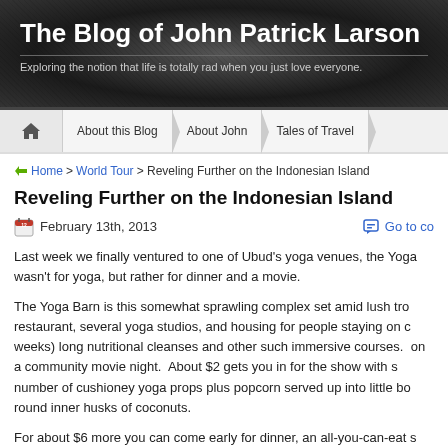The Blog of John Patrick Larson – Exploring the notion that life is totally rad when you just love everyone.
About this Blog | About John | Tales of Travel
Home > World Tour > Reveling Further on the Indonesian Island
Reveling Further on the Indonesian Island
February 13th, 2013
Last week we finally ventured to one of Ubud's yoga venues, the Yoga [Barn]. wasn't for yoga, but rather for dinner and a movie.
The Yoga Barn is this somewhat sprawling complex set amid lush tro[pical] restaurant, several yoga studios, and housing for people staying on c[ourse] weeks) long nutritional cleanses and other such immersive courses. on a community movie night.  About $2 gets you in for the show with s[eats] number of cushioney yoga props plus popcorn served up into little bo[wls] round inner husks of coconuts.
For about $6 more you can come early for dinner, an all-you-can-eat s[tyle]